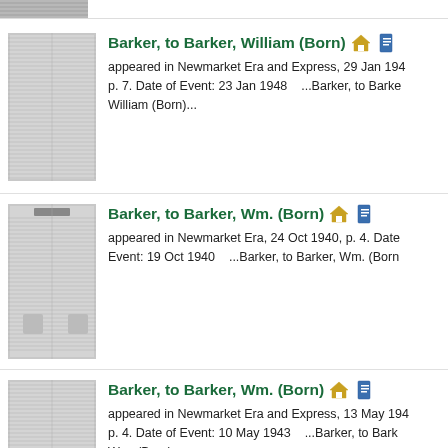[Figure (screenshot): Partial newspaper thumbnail at top of page]
Barker, to Barker, William (Born)
appeared in Newmarket Era and Express, 29 Jan 1948, p. 7. Date of Event: 23 Jan 1948    ...Barker, to Barker, William (Born)...
[Figure (screenshot): Newspaper page thumbnail for Barker Wm 1940 entry]
Barker, to Barker, Wm. (Born)
appeared in Newmarket Era, 24 Oct 1940, p. 4. Date of Event: 19 Oct 1940    ...Barker, to Barker, Wm. (Born)...
[Figure (screenshot): Newspaper page thumbnail for Barker Wm 1943 entry]
Barker, to Barker, Wm. (Born)
appeared in Newmarket Era and Express, 13 May 1943, p. 4. Date of Event: 10 May 1943    ...Barker, to Barker, Wm. (Born)...